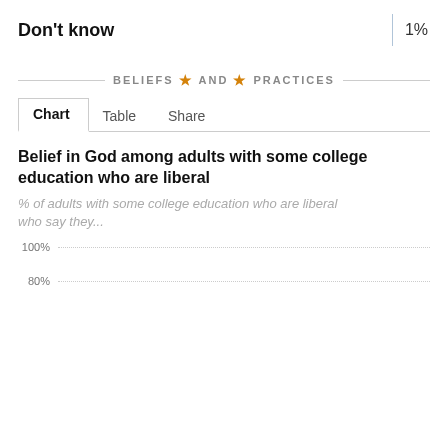Don't know
BELIEFS AND PRACTICES
Chart  Table  Share
Belief in God among adults with some college education who are liberal
% of adults with some college education who are liberal who say they...
[Figure (line-chart): Partial chart showing y-axis gridlines at 100% and 80%, chart content cut off]